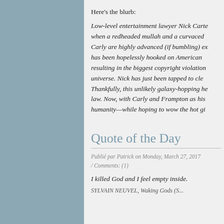Here's the blurb:
Low-level entertainment lawyer Nick Carte... when a redheaded mullah and a curvaced... Carly are highly advanced (if bumbling) ex... has been hopelessly hooked on American... resulting in the biggest copyright violation... universe. Nick has just been tapped to cle... Thankfully, this unlikely galaxy-hopping he... law. Now, with Carly and Frampton as his... humanity—while hoping to wow the hot gi...
Quote of the Day
Publié par Patrick on Monday, March 27, 2017 / Comments: (1)
I killed God and I feel empty inside.
SYLVAIN NEUVEL, Waking Gods (S...